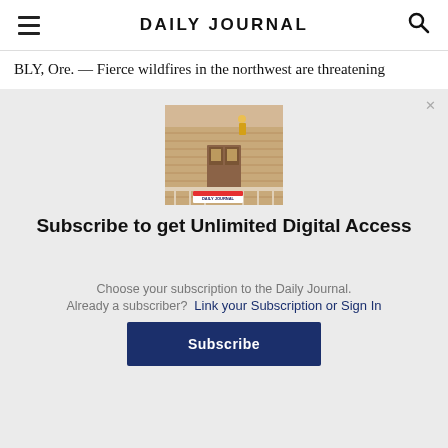DAILY JOURNAL
BLY, Ore. — Fierce wildfires in the northwest are threatening
[Figure (photo): Photo of a house porch with a Daily Journal newspaper on the steps]
Subscribe to get Unlimited Digital Access
Choose your subscription to the Daily Journal.
Already a subscriber?  Link your Subscription or Sign In
Subscribe